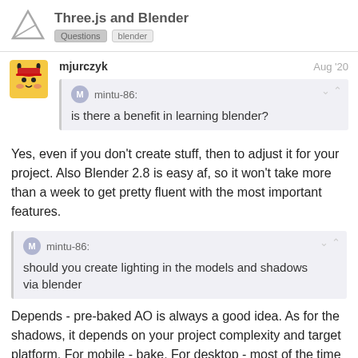Three.js and Blender | Questions | blender
mjurczyk   Aug '20
mintu-86: is there a benefit in learning blender?
Yes, even if you don't create stuff, then to adjust it for your project. Also Blender 2.8 is easy af, so it won't take more than a week to get pretty fluent with the most important features.
mintu-86: should you create lighting in the models and shadows via blender
Depends - pre-baked AO is always a good idea. As for the shadows, it depends on your project complexity and target platform. For mobile - bake. For desktop - most of the time you